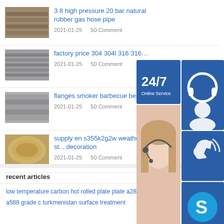3 8 high pressure 20 bar natural rubber gas hose pipe
2021-01-25   50 Comment
factory price 304 304l 316 316l 3...
2021-01-25   50 Comment
flanges smoker barbecue best se...
2021-01-25   50 Comment
supply en s355k2g2w weather st... decoration
2021-01-25   50 Comment
[Figure (infographic): Customer service widget overlay showing 24/7 online service badge, headset icon, phone icon, Skype icon, woman with headset photo, 'PROVIDE Empowering Cu...' text, and 'online live' orange button]
recent articles
low temperature carbon hot rolled plate plate a283 a387
a588 grade c turkmenistan surface treatment